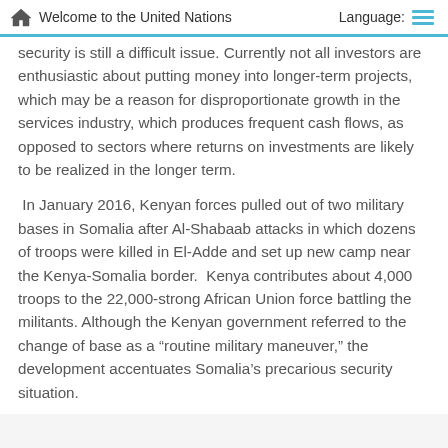Welcome to the United Nations   Language:
security is still a difficult issue. Currently not all investors are enthusiastic about putting money into longer-term projects, which may be a reason for disproportionate growth in the services industry, which produces frequent cash flows, as opposed to sectors where returns on investments are likely to be realized in the longer term.
In January 2016, Kenyan forces pulled out of two military bases in Somalia after Al-Shabaab attacks in which dozens of troops were killed in El-Adde and set up new camp near the Kenya-Somalia border.  Kenya contributes about 4,000 troops to the 22,000-strong African Union force battling the militants. Although the Kenyan government referred to the change of base as a “routine military maneuver,” the development accentuates Somalia’s precarious security situation.